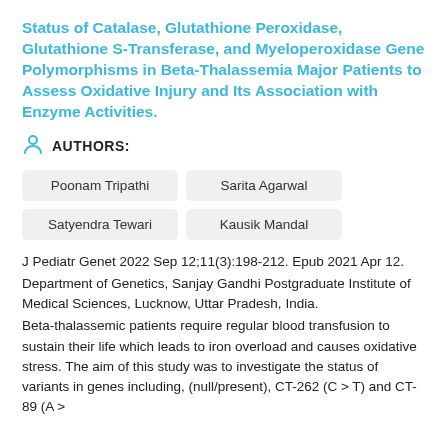Status of Catalase, Glutathione Peroxidase, Glutathione S-Transferase, and Myeloperoxidase Gene Polymorphisms in Beta-Thalassemia Major Patients to Assess Oxidative Injury and Its Association with Enzyme Activities.
AUTHORS:
Poonam Tripathi
Sarita Agarwal
Satyendra Tewari
Kausik Mandal
J Pediatr Genet 2022 Sep 12;11(3):198-212. Epub 2021 Apr 12.
Department of Genetics, Sanjay Gandhi Postgraduate Institute of Medical Sciences, Lucknow, Uttar Pradesh, India.
Beta-thalassemic patients require regular blood transfusion to sustain their life which leads to iron overload and causes oxidative stress. The aim of this study was to investigate the status of variants in genes including, (null/present), CT-262 (C > T) and CT-89 (A >